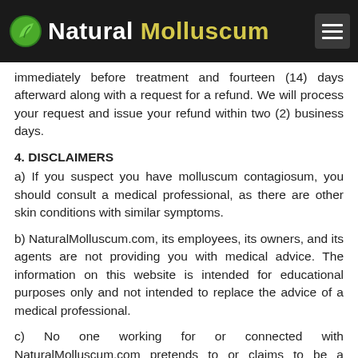Natural Molluscum
immediately before treatment and fourteen (14) days afterward along with a request for a refund. We will process your request and issue your refund within two (2) business days.
4. DISCLAIMERS
a) If you suspect you have molluscum contagiosum, you should consult a medical professional, as there are other skin conditions with similar symptoms.
b) NaturalMolluscum.com, its employees, its owners, and its agents are not providing you with medical advice. The information on this website is intended for educational purposes only and not intended to replace the advice of a medical professional.
c) No one working for or connected with NaturalMolluscum.com pretends to or claims to be a licensed medical professional.
d) By ordering the treatment information, you agree that no patient-doctor relationship has been established between you and